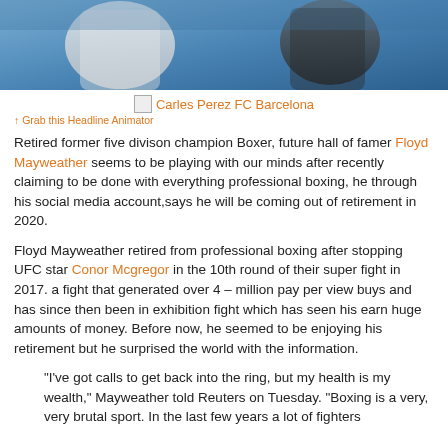[Figure (photo): Sports photo of boxer(s) — fighter in white on left, fighter in dark on right, blue arena background]
Carles Perez FC Barcelona
↑ Grab this Headline Animator
Retired former five divison champion Boxer, future hall of famer Floyd Mayweather seems to be playing with our minds after recently claiming to be done with everything professional boxing, he through his social media account,says he will be coming out of retirement in 2020.
Floyd Mayweather retired from professional boxing after stopping UFC star Conor Mcgregor in the 10th round of their super fight in 2017. a fight that generated over 4 – million pay per view buys and has since then been in exhibition fight which has seen his earn huge amounts of money. Before now, he seemed to be enjoying his retirement but he surprised the world with the information.
"I've got calls to get back into the ring, but my health is my wealth," Mayweather told Reuters on Tuesday. "Boxing is a very, very brutal sport. In the last few years a lot of fighters